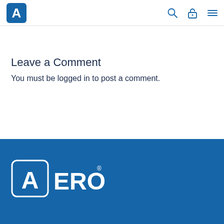AERO logo, search icon, lock icon, menu icon
Leave a Comment
You must be logged in to post a comment.
[Figure (logo): AERO logo in white on blue background in the footer]